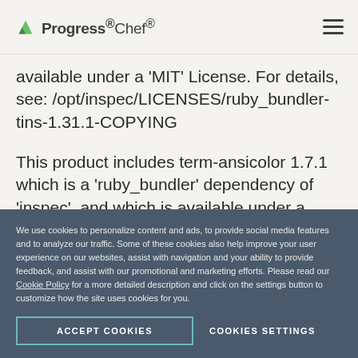Progress Chef
available under a 'MIT' License. For details, see: /opt/inspec/LICENSES/ruby_bundler-tins-1.31.1-COPYING
This product includes term-ansicolor 1.7.1 which is a 'ruby_bundler' dependency of 'inspec', and which is available under a 'Apache-2.0' License. For
We use cookies to personalize content and ads, to provide social media features and to analyze our traffic. Some of these cookies also help improve your user experience on our websites, assist with navigation and your ability to provide feedback, and assist with our promotional and marketing efforts. Please read our Cookie Policy for a more detailed description and click on the settings button to customize how the site uses cookies for you.
ACCEPT COOKIES
COOKIES SETTINGS